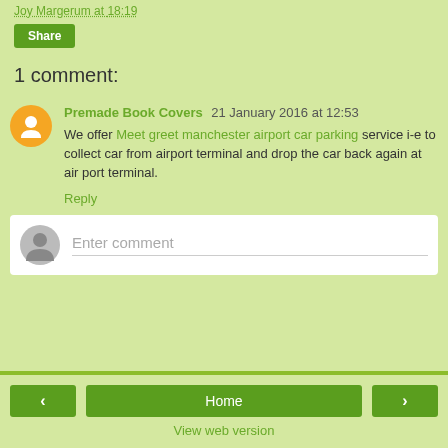Joy Margerum at 18:19
Share
1 comment:
Premade Book Covers 21 January 2016 at 12:53
We offer Meet greet manchester airport car parking service i-e to collect car from airport terminal and drop the car back again at air port terminal.
Reply
Enter comment
< Home > View web version